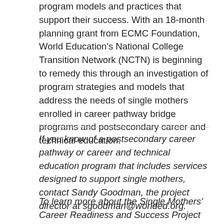program models and practices that support their success. With an 18-month planning grant from ECMC Foundation, World Education's National College Transition Network (NCTN) is beginning to remedy this through an investigation of program strategies and models that address the needs of single mothers enrolled in career pathway bridge programs and postsecondary career and technical education.
If you know of a postsecondary career pathway or career and technical education program that includes services designed to support single mothers, contact Sandy Goodman, the project director at sgoodman@worlded.org.
To learn more about the Single Mothers' Career Readiness and Success Project and to read the project literature review and research sources upon which this